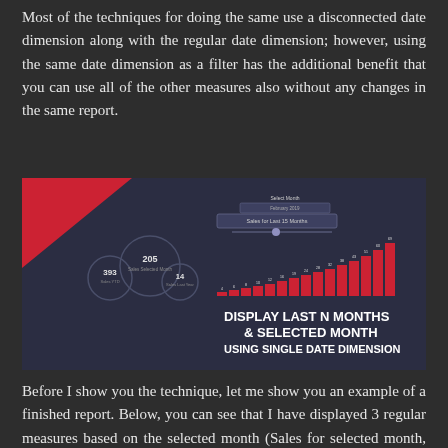Most of the techniques for doing the same use a disconnected date dimension along with the regular date dimension; however, using the same date dimension as a filter has the additional benefit that you can use all of the other measures also without any changes in the same report.
[Figure (screenshot): A Power BI report screenshot showing a bar chart with increasing monthly sales, KPI cards showing values 205, 393, 14, a slicer for 'Sales for Last 15 Months', and bold white text reading 'DISPLAY LAST N MONTHS & SELECTED MONTH USING SINGLE DATE DIMENSION' on a dark navy background with a red triangle accent.]
Before I show you the technique, let me show you an example of a finished report. Below, you can see that I have displayed 3 regular measures based on the selected month (Sales for selected month, Sales YTD and Sales Last Year), along with a bar chart that